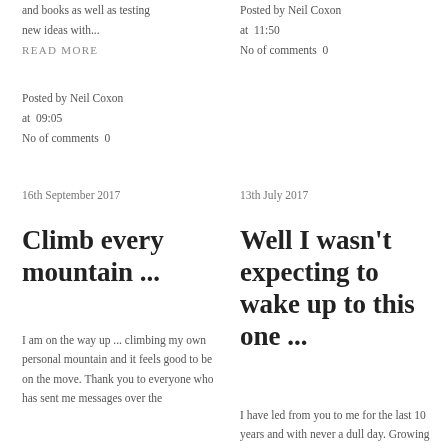and books as well as testing new ideas with...
READ MORE
Posted by Neil Coxon at  09:05
No of comments  0
Posted by Neil Coxon at  11:50
No of comments  0
16th September 2017
13th July 2017
Climb every mountain ...
Well I wasn't expecting to wake up to this one ...
I am on the way up ... climbing my own personal mountain and it feels good to be on the move. Thank you to everyone who has sent me messages over the
I have led from you to me for the last 10 years and with never a dull day. Growing as